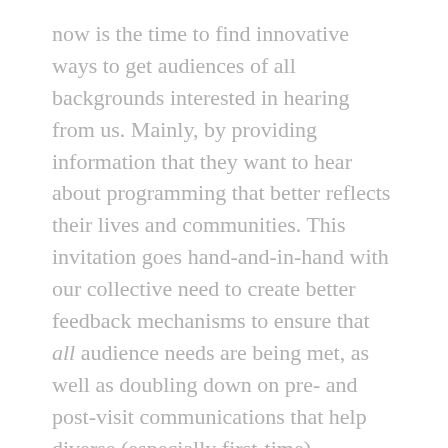now is the time to find innovative ways to get audiences of all backgrounds interested in hearing from us. Mainly, by providing information that they want to hear about programming that better reflects their lives and communities. This invitation goes hand-and-in-hand with our collective need to create better feedback mechanisms to ensure that all audience needs are being met, as well as doubling down on pre- and post-visit communications that help diverse (especially first-time) audiences feel welcome.
As organizations begin to think about being both of place and placeless (and developing a mix of in-person and virtual programming in 2021 and beyond), arts marketers must become even more regimented about segmented marketing without siloing audiences by race and ethnicity. Arts marketers may find the need to create completely separate marketing funnels for those who have self-identified that they have no